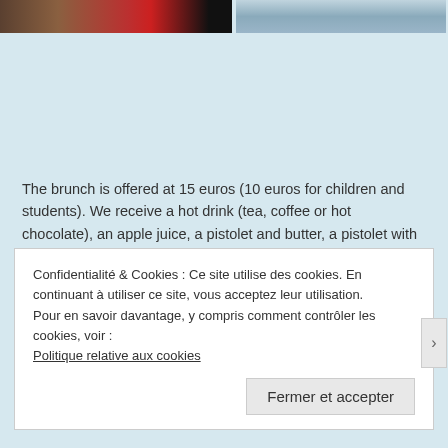[Figure (photo): Two cropped photos at the top of the page: left shows a kitchen/food scene with red objects, right shows a lighter scene with blue/grey tones.]
The brunch is offered at 15 euros (10 euros for children and students). We receive a hot drink (tea, coffee or hot chocolate), an apple juice, a pistolet and butter, a pistolet with either scrambled eggs with or without bacon, either ham and cheese or vegetarian and a homemade cake. The pistolet is so delicious that you could eat it all day. They come from Yves Guns in Bertem and it has everything you want: a crispy exterior and a the inside is terribly soft. With a good salted butter, we feasted already.
Confidentialité & Cookies : Ce site utilise des cookies. En continuant à utiliser ce site, vous acceptez leur utilisation.
Pour en savoir davantage, y compris comment contrôler les cookies, voir :
Politique relative aux cookies
Fermer et accepter